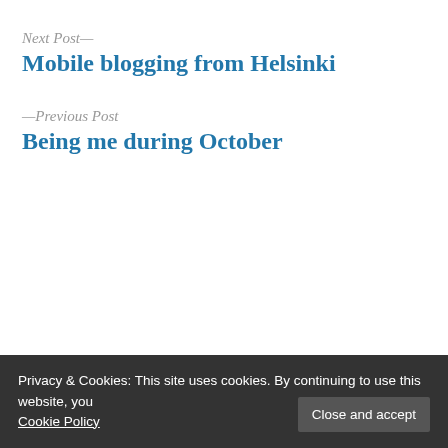Next Post—
Mobile blogging from Helsinki
—Previous Post
Being me during October
Privacy & Cookies: This site uses cookies. By continuing to use this website, you Cookie Policy
Close and accept